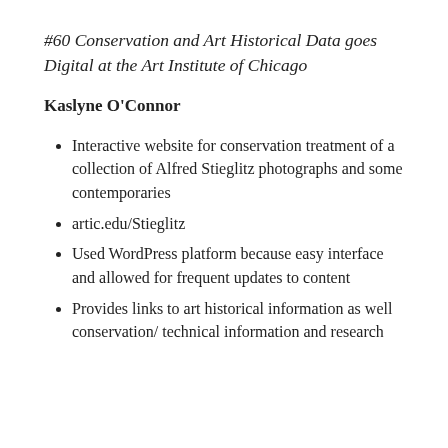#60 Conservation and Art Historical Data goes Digital at the Art Institute of Chicago
Kaslyne O’Connor
Interactive website for conservation treatment of a collection of Alfred Stieglitz photographs and some contemporaries
artic.edu/Stieglitz
Used WordPress platform because easy interface and allowed for frequent updates to content
Provides links to art historical information as well conservation/ technical information and research